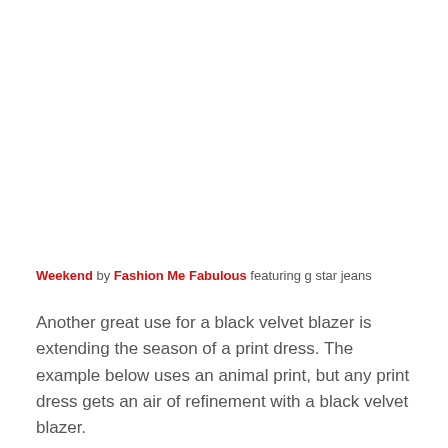Weekend by Fashion Me Fabulous featuring g star jeans
Another great use for a black velvet blazer is extending the season of a print dress. The example below uses an animal print, but any print dress gets an air of refinement with a black velvet blazer.